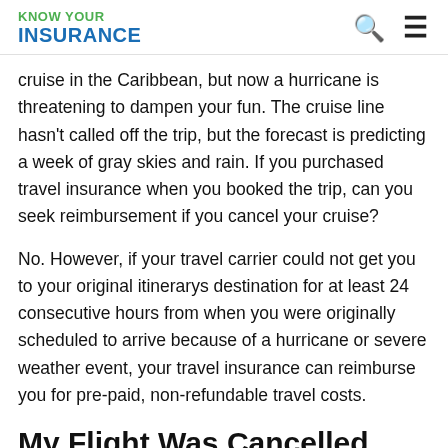KNOW YOUR INSURANCE
cruise in the Caribbean, but now a hurricane is threatening to dampen your fun. The cruise line hasn't called off the trip, but the forecast is predicting a week of gray skies and rain. If you purchased travel insurance when you booked the trip, can you seek reimbursement if you cancel your cruise?
No. However, if your travel carrier could not get you to your original itinerarys destination for at least 24 consecutive hours from when you were originally scheduled to arrive because of a hurricane or severe weather event, your travel insurance can reimburse you for pre-paid, non-refundable travel costs.
My Flight Was Cancelled And My Policy Doesnt Cover It How Can I